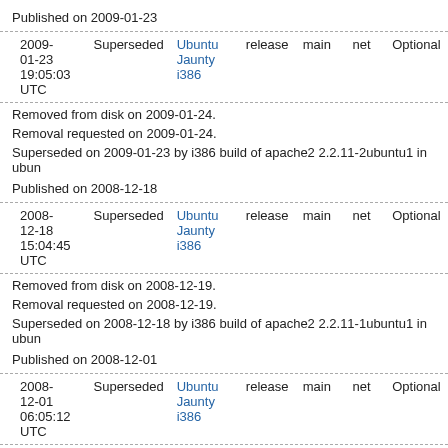Published on 2009-01-23
| 2009-01-23 19:05:03 UTC | Superseded | Ubuntu Jaunty i386 | release | main | net | Optional |
Removed from disk on 2009-01-24.
Removal requested on 2009-01-24.
Superseded on 2009-01-23 by i386 build of apache2 2.2.11-2ubuntu1 in ubun
Published on 2008-12-18
| 2008-12-18 15:04:45 UTC | Superseded | Ubuntu Jaunty i386 | release | main | net | Optional |
Removed from disk on 2008-12-19.
Removal requested on 2008-12-19.
Superseded on 2008-12-18 by i386 build of apache2 2.2.11-1ubuntu1 in ubun
Published on 2008-12-01
| 2008-12-01 06:05:12 UTC | Superseded | Ubuntu Jaunty i386 | release | main | net | Optional |